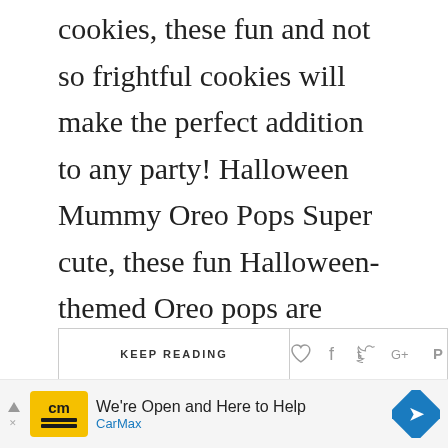cookies, these fun and not so frightful cookies will make the perfect addition to any party! Halloween Mummy Oreo Pops Super cute, these fun Halloween-themed Oreo pops are decorated to look like cute mummies. Halloween Peanut Butter Cookie Cups These cute cookie cups start with homemade cookie dough and are topped with your favorite candy to look like Halloween spiders, mummies, or...
KEEP READING
[Figure (infographic): Social share icons: heart, Facebook f, Twitter bird, Google+, Pinterest P]
[Figure (infographic): CarMax advertisement banner: yellow CarMax logo, text 'We're Open and Here to Help' and 'CarMax', blue diamond arrow icon]